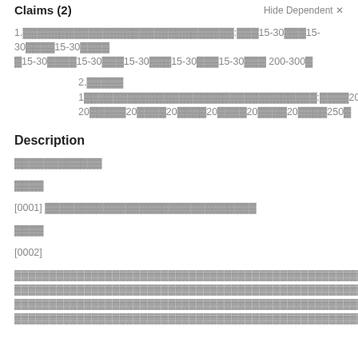Claims (2)   Hide Dependent ×
1.▓▓▓▓▓▓▓▓▓▓▓▓▓▓▓▓▓▓▓▓▓▓▓▓▓▓▓▓▓:▓▓▓15-30▓▓▓15-30▓▓▓▓15-30▓▓▓▓▓15-30▓▓▓▓15-30▓▓▓15-30▓▓▓15-30▓▓▓15-30▓▓▓ 200-300▓
2.▓▓▓▓▓ 1▓▓▓▓▓▓▓▓▓▓▓▓▓▓▓▓▓▓▓▓▓▓▓▓▓▓▓▓▓▓▓▓:▓▓▓▓20▓▓▓▓20▓▓▓▓▓20▓▓▓▓▓20▓▓▓▓20▓▓▓▓20▓▓▓▓20▓▓▓▓20▓▓▓▓250▓
Description
▓▓▓▓▓▓▓▓▓▓▓▓
▓▓▓▓
[0001] ▓▓▓▓▓▓▓▓▓▓▓▓▓▓▓▓▓▓▓▓▓▓▓▓▓▓▓▓▓
▓▓▓▓
[0002]
▓▓▓▓▓▓▓▓▓▓▓▓▓▓▓▓▓▓▓▓▓▓▓▓▓▓▓▓▓▓▓▓▓▓▓▓▓▓▓▓▓▓▓▓▓▓▓▓▓▓▓▓▓▓▓▓▓▓▓▓▓▓▓▓▓▓▓▓▓▓▓▓▓▓▓▓▓▓▓▓▓▓▓▓▓▓▓▓▓▓▓▓▓▓▓▓▓▓▓▓▓▓▓▓▓▓▓▓▓▓▓▓▓▓▓▓▓▓▓▓▓▓▓▓▓▓▓▓▓▓▓▓▓▓▓▓▓▓▓▓▓▓▓▓▓▓▓▓▓▓▓▓▓▓▓▓▓▓▓▓▓▓▓▓▓▓▓▓▓▓▓▓▓▓▓▓▓▓▓▓▓▓▓▓▓▓▓▓▓▓▓▓▓▓▓▓▓▓▓▓▓▓▓▓▓▓▓▓▓▓▓▓▓▓▓▓▓▓▓▓▓▓▓▓▓▓▓▓▓▓▓▓▓▓▓▓▓▓▓▓▓▓▓▓▓▓▓▓▓▓▓▓▓▓▓▓▓▓▓▓▓▓▓▓▓▓▓▓▓▓▓▓▓▓▓▓▓